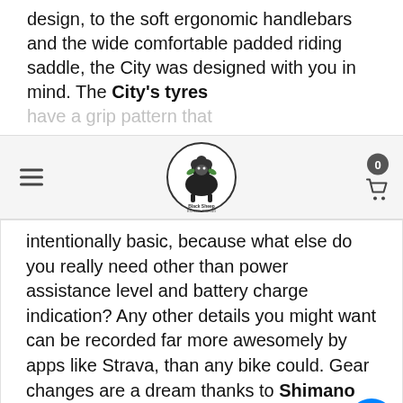design, to the soft ergonomic handlebars and the wide comfortable padded riding saddle, the City was designed with you in mind. The City's tyres have a grip pattern that...
[Figure (logo): Black Sheep cycling/trading logo — circular badge with a cartoon black sheep, text 'Black Sheep EST.2016 TRADING']
intentionally basic, because what else do you really need other than power assistance level and battery charge indication? Any other details you might want can be recorded far more awesomely by apps like Strava, than any bike could. Gear changes are a dream thanks to Shimano SIS-Index series 7 speed gears. What this means is that gone are the days of imprecise gear changes. The Vista's gears simply 'click' into place with the push of the lever. With the Sonic City you have the option of travelling as higher speeds than you might normally ride at. Importantly, the City series comes equipped with front and rear